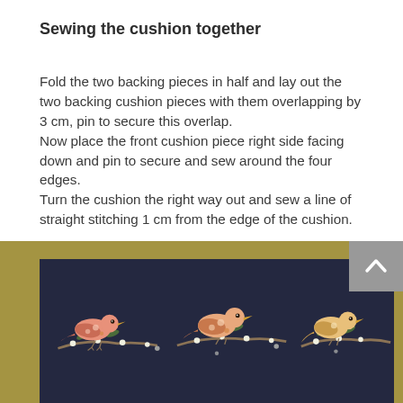Sewing the cushion together
Fold the two backing pieces in half and lay out the two backing cushion pieces with them overlapping by 3 cm, pin to secure this overlap.
Now place the front cushion piece right side facing down and pin to secure and sew around the four edges.
Turn the cushion the right way out and sew a line of straight stitching 1 cm from the edge of the cushion.
[Figure (photo): Decorative fabric with birds perched on floral branches against a dark navy background, with warm olive/khaki border framing. A grey scroll-to-top button with upward chevron arrow is visible in the upper right of the image area.]